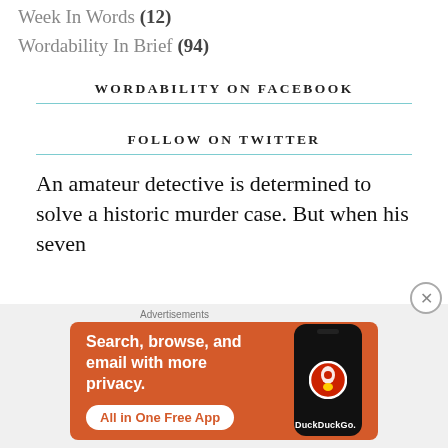Week In Words (12)
Wordability In Brief (94)
WORDABILITY ON FACEBOOK
FOLLOW ON TWITTER
An amateur detective is determined to solve a historic murder case. But when his seven
[Figure (screenshot): DuckDuckGo advertisement banner: orange background with text 'Search, browse, and email with more privacy. All in One Free App' and DuckDuckGo logo on a phone mockup. Labeled 'Advertisements'.]